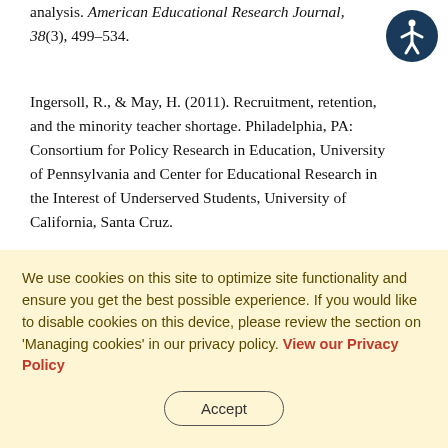analysis. American Educational Research Journal, 38(3), 499–534.
Ingersoll, R., & May, H. (2011). Recruitment, retention, and the minority teacher shortage. Philadelphia, PA: Consortium for Policy Research in Education, University of Pennsylvania and Center for Educational Research in the Interest of Underserved Students, University of California, Santa Cruz.
Ingersoll, R., & Merrill, L. (2010). Who's
We use cookies on this site to optimize site functionality and ensure you get the best possible experience. If you would like to disable cookies on this device, please review the section on 'Managing cookies' in our privacy policy. View our Privacy Policy
Accept